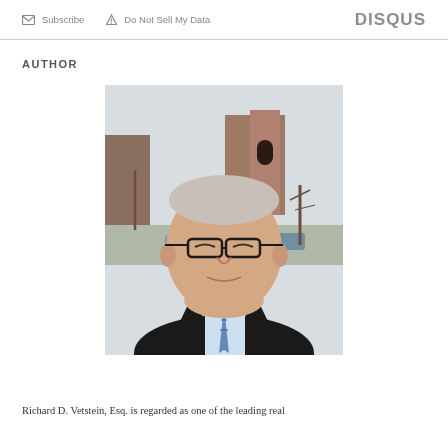Subscribe  Do Not Sell My Data    DISQUS
AUTHOR
[Figure (photo): Portrait photo of Richard D. Vetstein, Esq. — an older man with gray hair, black-rimmed glasses, wearing a dark suit jacket, light blue dress shirt and patterned tie, photographed outdoors with a brick building in the background.]
Richard D. Vetstein, Esq. is regarded as one of the leading real